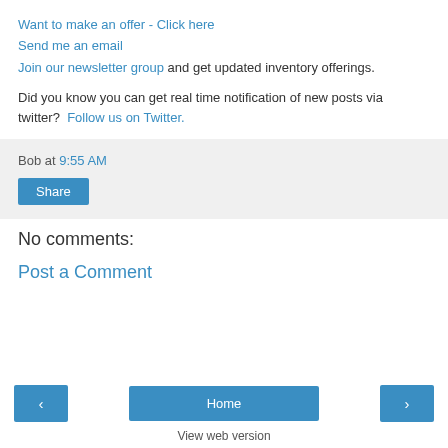Want to make an offer - Click here
Send me an email
Join our newsletter group and get updated inventory offerings.
Did you know you can get real time notification of new posts via twitter?  Follow us on Twitter.
Bob at 9:55 AM
Share
No comments:
Post a Comment
Home
View web version